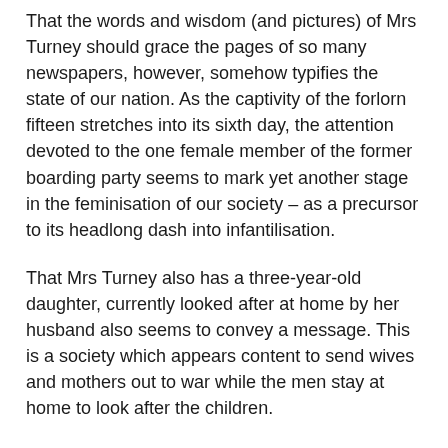That the words and wisdom (and pictures) of Mrs Turney should grace the pages of so many newspapers, however, somehow typifies the state of our nation. As the captivity of the forlorn fifteen stretches into its sixth day, the attention devoted to the one female member of the former boarding party seems to mark yet another stage in the feminisation of our society – as a precursor to its headlong dash into infantilisation.
That Mrs Turney also has a three-year-old daughter, currently looked after at home by her husband also seems to convey a message. This is a society which appears content to send wives and mothers out to war while the men stay at home to look after the children.
Nor indeed do we get much comfort from the father of a naval officer serving in HMS Cornwall in the Gulf. In a letter to The Telegraph he finds it "very interesting to read the comments of those who seem to think that Cornwall should have somehow intervened to prevent the capture of her sailors and Marines by the Iranians." Asks Mr P R Woad of